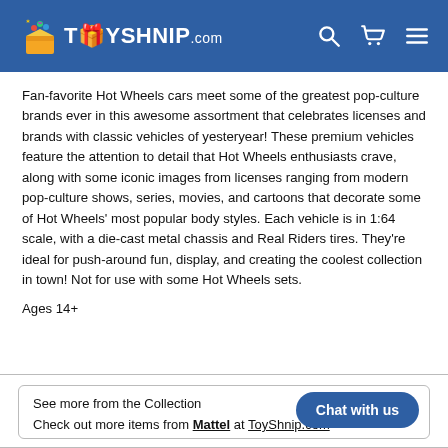TOYSHNIP.com
Fan-favorite Hot Wheels cars meet some of the greatest pop-culture brands ever in this awesome assortment that celebrates licenses and brands with classic vehicles of yesteryear! These premium vehicles feature the attention to detail that Hot Wheels enthusiasts crave, along with some iconic images from licenses ranging from modern pop-culture shows, series, movies, and cartoons that decorate some of Hot Wheels' most popular body styles. Each vehicle is in 1:64 scale, with a die-cast metal chassis and Real Riders tires. They're ideal for push-around fun, display, and creating the coolest collection in town! Not for use with some Hot Wheels sets.
Ages 14+
See more from the Collection
Check out more items from Mattel at ToyShnip.com